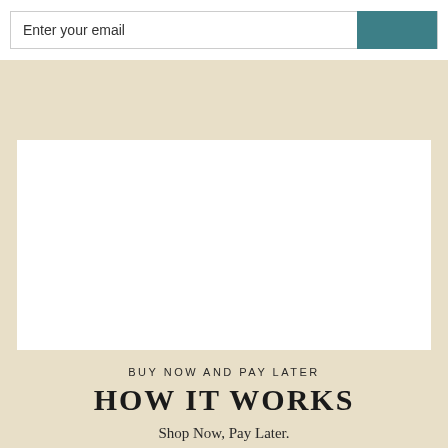[Figure (screenshot): Email input field with teal/dark cyan submit button on right side]
[Figure (photo): White rectangular image/video placeholder on beige background]
BUY NOW AND PAY LATER
HOW IT WORKS
Shop Now, Pay Later.
Sezzle let's you break your entire purchase into manageable